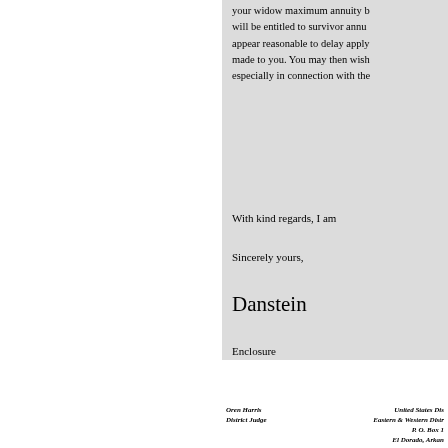your widow maximum annuity b will be entitled to survivor annu appear reasonable to delay apply made to you. You may then wish especially in connection with the
With kind regards, I am
Sincerely yours,
Danstein
Enclosure
Oren Harris District Judge
United States District
Eastern & Western Districts
P. O. Box ...
El Dorado, Arkansas
February 25
The Honorable David N. Henderson Committee on Post Office and Civil 309 Cannon House Office Building Washington, D. C.  20515
In Re:  H.R. 11738
Dear Mr. Chairman:
under the Congressional Re
entitlements have been vest